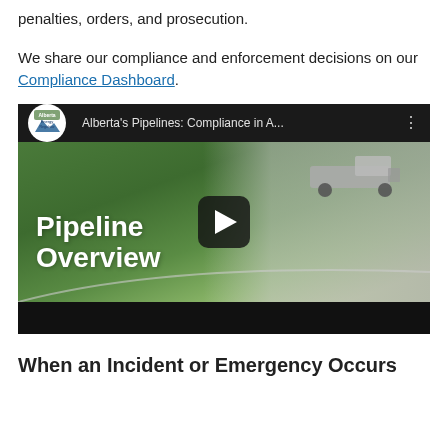penalties, orders, and prosecution.
We share our compliance and enforcement decisions on our Compliance Dashboard.
[Figure (screenshot): YouTube video thumbnail for 'Alberta's Pipelines: Compliance in A...' showing a green field with a truck and text 'Pipeline Overview'. Alberta Energy Regulator logo visible in top-left. Play button in center.]
When an Incident or Emergency Occurs